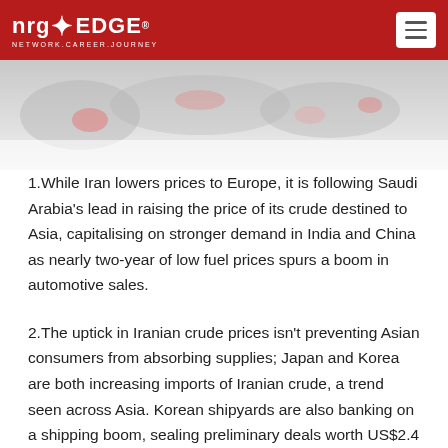nrgEDGE® NETWORK.CAREER.JOURNEY
[Figure (illustration): World map graphic with highlighted regions in muted red/pink tones on a grey background, partially visible at the top of the page]
1.While Iran lowers prices to Europe, it is following Saudi Arabia's lead in raising the price of its crude destined to Asia, capitalising on stronger demand in India and China as nearly two-year of low fuel prices spurs a boom in automotive sales.
2.The uptick in Iranian crude prices isn't preventing Asian consumers from absorbing supplies; Japan and Korea are both increasing imports of Iranian crude, a trend seen across Asia. Korean shipyards are also banking on a shipping boom, sealing preliminary deals worth US$2.4 billion with Iranian shipping and